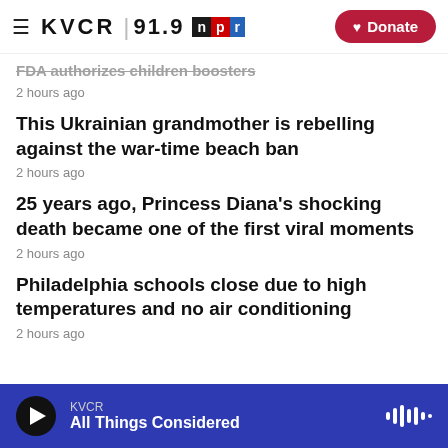KVCR 91.9 NPR | Donate
FDA authorizes children boosters
2 hours ago
This Ukrainian grandmother is rebelling against the war-time beach ban
2 hours ago
25 years ago, Princess Diana's shocking death became one of the first viral moments
2 hours ago
Philadelphia schools close due to high temperatures and no air conditioning
2 hours ago
KVCR — All Things Considered